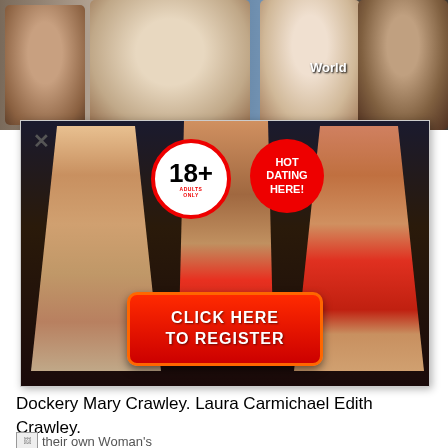[Figure (photo): Photo strip of celebrity faces at the top of the page, showing multiple people]
[Figure (photo): Adult dating advertisement popup overlay showing three women and badges: 18+ Adults Only, HOT DATING HERE!, and a red CLICK HERE TO REGISTER button]
Dockery Mary Crawley. Laura Carmichael Edith Crawley.
[Figure (photo): Broken image placeholder followed by text: their own Woman's]